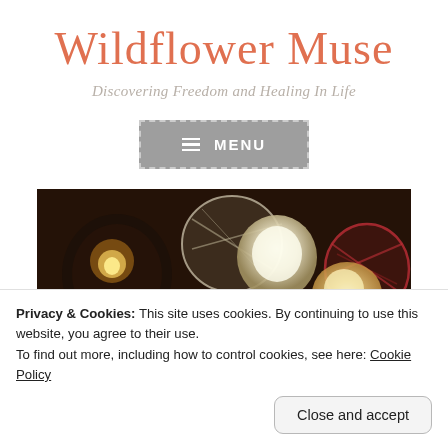Wildflower Muse
Discovering Freedom and Healing In Life
[Figure (screenshot): Gray menu button with dashed border and hamburger icon, labeled MENU]
[Figure (photo): Decorative photo showing candles, glowing orbs, wicker balls, and red berries on a dark surface]
Privacy & Cookies: This site uses cookies. By continuing to use this website, you agree to their use.
To find out more, including how to control cookies, see here: Cookie Policy
Close and accept
Monthly